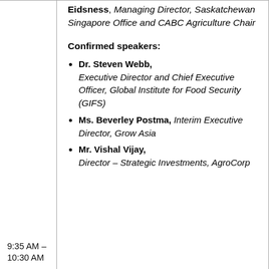Eidsness, Managing Director, Saskatchewan Singapore Office and CABC Agriculture Chair
Confirmed speakers:
Dr. Steven Webb, Executive Director and Chief Executive Officer, Global Institute for Food Security (GIFS)
Ms. Beverley Postma, Interim Executive Director, Grow Asia
Mr. Vishal Vijay, Director – Strategic Investments, AgroCorp
9:35 AM – 10:30 AM